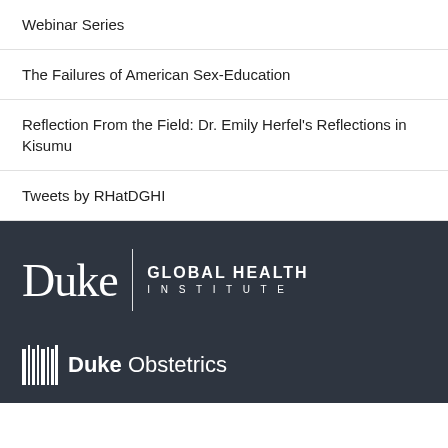Webinar Series
The Failures of American Sex-Education
Reflection From the Field: Dr. Emily Herfel’s Reflections in Kisumu
Tweets by RHatDGHI
[Figure (logo): Duke Global Health Institute logo in white on dark background]
[Figure (logo): Duke Obstetrics logo with barcode icon in white on dark background]